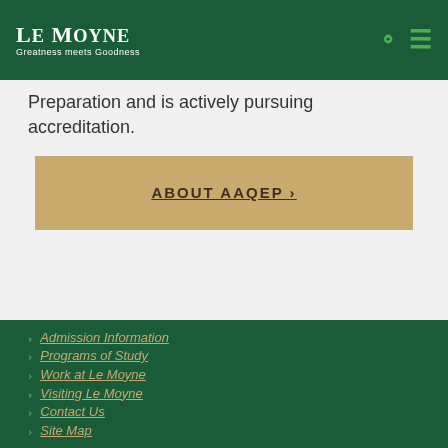Le Moyne — Greatness meets Goodness
Preparation and is actively pursuing accreditation.
ABOUT AAQEP ›
Admission Information
Programs of Study
Work at Le Moyne
Visiting Le Moyne
Contact Us
Site Map